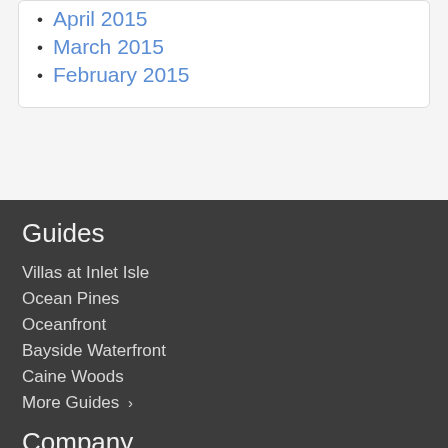April 2015
March 2015
February 2015
Guides
Villas at Inlet Isle
Ocean Pines
Oceanfront
Bayside Waterfront
Caine Woods
More Guides ›
Company
Meet The Team
Our Blog
Contact Us